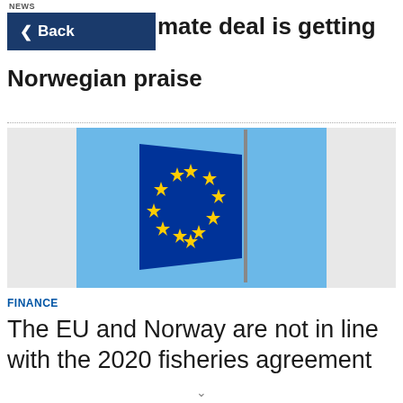NEWS
Back
mate deal is getting Norwegian praise
[Figure (photo): EU flag waving against a blue sky, showing the circle of gold stars on a blue background, attached to a flagpole]
FINANCE
The EU and Norway are not in line with the 2020 fisheries agreement